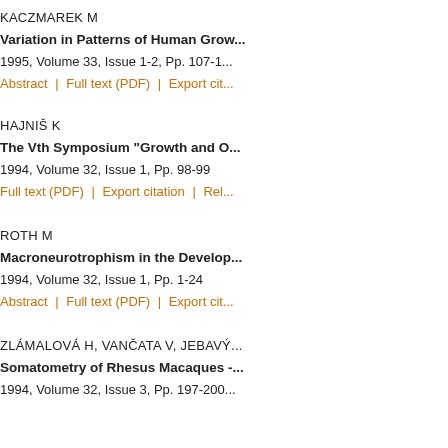KACZMAREK M
Variation in Patterns of Human Grow...
1995, Volume 33, Issue 1-2, Pp. 107-1...
Abstract  |  Full text (PDF)  |  Export cit...
HAJNIŠ K
The Vth Symposium "Growth and O...
1994, Volume 32, Issue 1, Pp. 98-99
Full text (PDF)  |  Export citation  |  Rel...
ROTH M
Macroneurotrophism in the Develop...
1994, Volume 32, Issue 1, Pp. 1-24
Abstract  |  Full text (PDF)  |  Export cit...
ZLÁMALOVÁ H, VANČATA V, JEBAVÝ...
Somatometry of Rhesus Macaques -...
1994, Volume 32, Issue 3, Pp. 197-200...